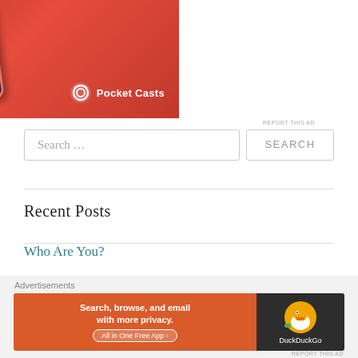[Figure (screenshot): Pocket Casts app advertisement showing a smartphone with red background and Pocket Casts logo]
REPORT THIS AD
Search ...
SEARCH
Recent Posts
Who Are You?
Hopes for 2022
Advertisements
[Figure (screenshot): DuckDuckGo advertisement: Search, browse, and email with more privacy. All in One Free App]
REPORT THIS AD